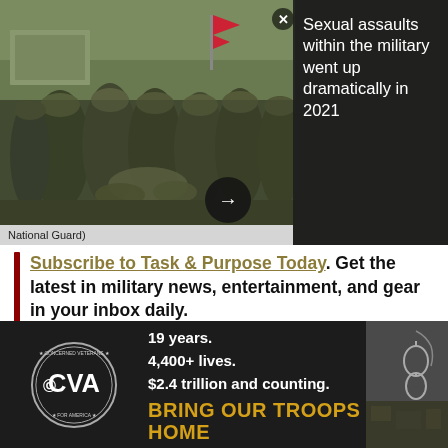[Figure (photo): Group of military soldiers in camouflage uniforms gathered together outdoors, with a flag visible in background]
Sexual assaults within the military went up dramatically in 2021
National Guard)
Subscribe to Task & Purpose Today. Get the latest in military news, entertainment, and gear in your inbox daily.
The military has long had a love-hate relationship with social media. While the services have increased their social … ium also co… e social … y
[Figure (advertisement): Concerned Veterans for America ad. 19 years. 4,400+ lives. $2.4 trillion and counting. BRING OUR TROOPS HOME]